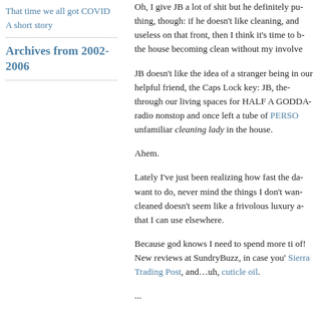That time we all got COVID
A short story
Archives from 2002-2006
Oh, I give JB a lot of shit but he definitely pu... thing, though: if he doesn't like cleaning, and useless on that front, then I think it's time to b... the house becoming clean without my involve...
JB doesn't like the idea of a stranger being in... our helpful friend, the Caps Lock key: JB, the... through our living spaces for HALF A GODDA... radio nonstop and once left a tube of PERSO... unfamiliar cleaning lady in the house.
Ahem.
Lately I've just been realizing how fast the da... want to do, never mind the things I don't wan... cleaned doesn't seem like a frivolous luxury a... that I can use elsewhere.
Because god knows I need to spend more ti... of! New reviews at SundryBuzz, in case you'... Sierra Trading Post, and…uh, cuticle oil.
...